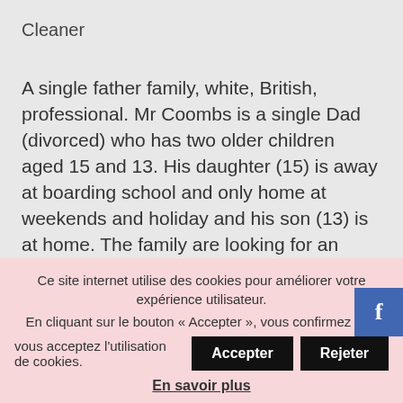Cleaner
A single father family, white, British, professional. Mr Coombs is a single Dad (divorced) who has two older children aged 15 and 13. His daughter (15) is away at boarding school and only home at weekends and holiday and his son (13) is at home. The family are looking for an adaptable, cheerful au pair to be a companion and friend to the son. We have placed two au pairs with this family who have both been very happy and stayed for a long time. The current au p...
Ce site internet utilise des cookies pour améliorer votre expérience utilisateur.
En cliquant sur le bouton « Accepter », vous confirmez que vous acceptez l'utilisation de cookies.
En savoir plus